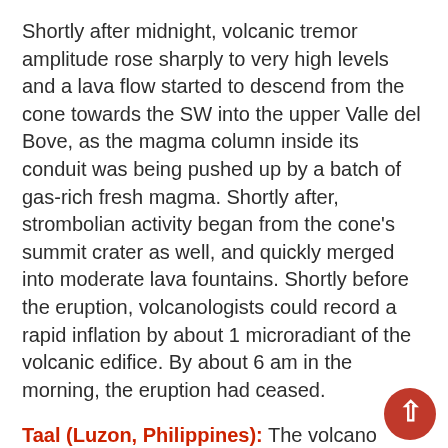Shortly after midnight, volcanic tremor amplitude rose sharply to very high levels and a lava flow started to descend from the cone towards the SW into the upper Valle del Bove, as the magma column inside its conduit was being pushed up by a batch of gas-rich fresh magma. Shortly after, strombolian activity began from the cone's summit crater as well, and quickly merged into moderate lava fountains. Shortly before the eruption, volcanologists could record a rapid inflation by about 1 microradiant of the volcanic edifice. By about 6 am in the morning, the eruption had ceased.
Taal (Luzon, Philippines): The volcano remains very restless - seismic and gas emission activity continue to be elevated, indicating that magma is moving and accumulating underneath the surface and might cause new eruptions at any time. The seismic network detected 102 small volcanic earthquakes today and estimated SO2 emissions at 3,25...